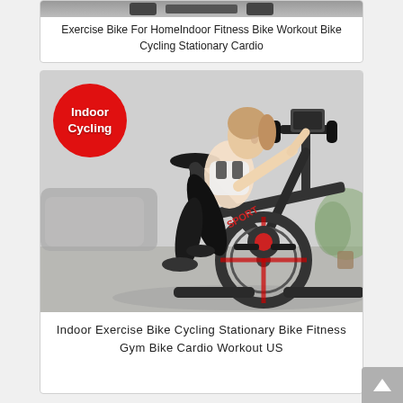[Figure (photo): Top portion of a product card showing an exercise bike image (cropped, partially visible at top)]
Exercise Bike For HomeIndoor Fitness Bike Workout Bike Cycling Stationary Cardio
[Figure (photo): Photo of a woman riding an indoor cycling stationary bike. Red badge overlay reads 'Indoor Cycling'. The bike is black with red accents and the background shows a living room setting.]
Indoor Exercise Bike Cycling Stationary Bike Fitness Gym Bike Cardio Workout US